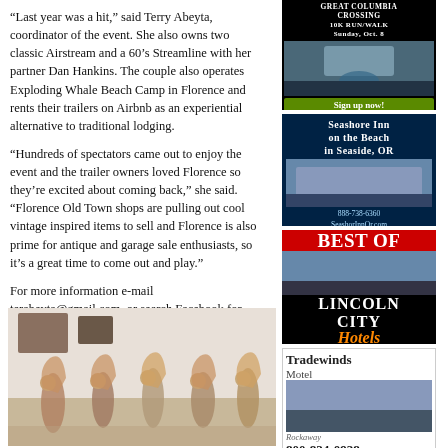“Last year was a hit,” said Terry Abeyta, coordinator of the event. She also owns two classic Airstream and a 60’s Streamline with her partner Dan Hankins. The couple also operates Exploding Whale Beach Camp in Florence and rents their trailers on Airbnb as an experiential alternative to traditional lodging.
“Hundreds of spectators came out to enjoy the event and the trailer owners loved Florence so they’re excited about coming back,” she said. “Florence Old Town shops are pulling out cool vintage inspired items to sell and Florence is also prime for antique and garage sale enthusiasts, so it’s a great time to come out and play.”
For more information e-mail terabeyta@gmail.com, or search Facebook for “Goin’ with the Flo Vintage Trailer Rally” Event.
[Figure (photo): Group of people sitting with harps in a room]
[Figure (infographic): Great Columbia Crossing 10K Run/Walk ad, Sunday Oct. 8, Sign up now!]
[Figure (infographic): Seashore Inn on the Beach in Seaside, OR ad with phone 888-738-6360 and website SeashorInnOr.com]
[Figure (infographic): Best of Lincoln City Hotels ad]
[Figure (infographic): Tradewinds Motel Rockaway 800-824-0938 ad]
[Figure (infographic): Tillamook Coast Oregon ad]